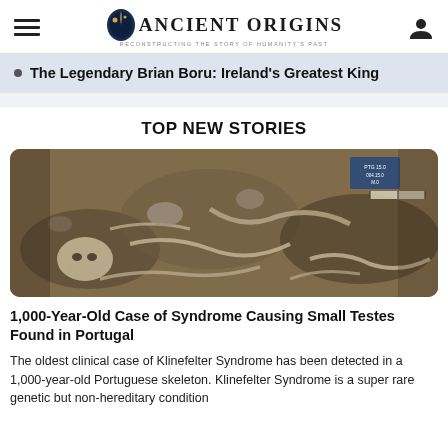Ancient Origins — Reconstructing the story of humanity's past
The Legendary Brian Boru: Ireland's Greatest King
TOP NEW STORIES
[Figure (photo): Archaeological excavation showing human skeletal remains in soil, with a measuring scale marker in the upper right corner]
1,000-Year-Old Case of Syndrome Causing Small Testes Found in Portugal
The oldest clinical case of Klinefelter Syndrome has been detected in a 1,000-year-old Portuguese skeleton. Klinefelter Syndrome is a super rare genetic but non-hereditary condition